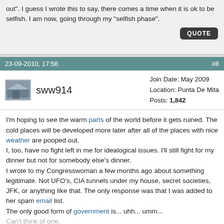out". I guess I wrote this to say, there comes a time when it is ok to be selfish. I am now, going through my "selfish phase".
QUOTE
23-09-2010, 17:58    #8
sww914  Join Date: May 2009  Location: Punta De Mita  Posts: 1,842
I'm hoping to see the warm parts of the world before it gets ruined. The cold places will be developed more later after all of the places with nice weather are pooped out.
I, too, have no fight left in me for idealogical issues. I'll still fight for my dinner but not for somebody else's dinner.
I wrote to my Congresswoman a few months ago about something legitimate. Not UFO's, CIA tunnels under my house, secret societies, JFK, or anything like that. The only response was that I was added to her spam email list.
The only good form of government is... uhh... umm...
Can't think of one.